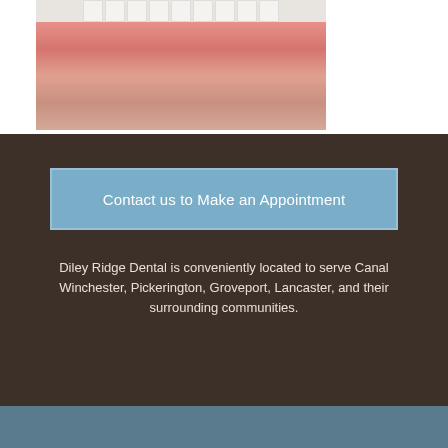[Figure (photo): Close-up photograph of a person's smile showing white teeth and lips]
Contact us to Make an Appointment
Diley Ridge Dental is conveniently located to serve Canal Winchester, Pickerington, Groveport, Lancaster, and their surrounding communities.